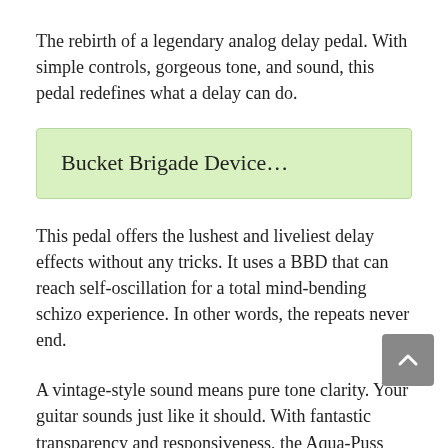The rebirth of a legendary analog delay pedal. With simple controls, gorgeous tone, and sound, this pedal redefines what a delay can do.
Bucket Brigade Device…
This pedal offers the lushest and liveliest delay effects without any tricks. It uses a BBD that can reach self-oscillation for a total mind-bending schizo experience. In other words, the repeats never end.
A vintage-style sound means pure tone clarity. Your guitar sounds just like it should. With fantastic transparency and responsiveness, the Aqua-Puss works with your playing. The harder you play, the